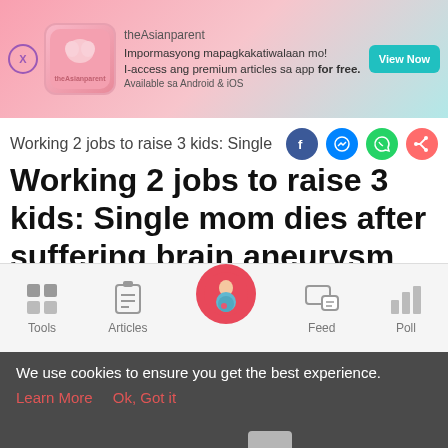[Figure (screenshot): theAsianparent app advertisement banner with pink gradient background, app logo, text in Filipino promoting premium articles, and a teal View Now button]
Working 2 jobs to raise 3 kids: Single
Working 2 jobs to raise 3 kids: Single mom dies after suffering brain aneurysm
[Figure (photo): Split image: left side dark blurry photo, right side black video panel with arrow navigation button]
[Figure (screenshot): Bottom navigation bar with Tools, Articles, home (pregnant woman icon on pink circle), Feed, and Poll icons]
We use cookies to ensure you get the best experience.
Learn More   Ok, Got it